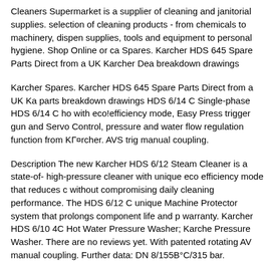Cleaners Supermarket is a supplier of cleaning and janitorial supplies. selection of cleaning products - from chemicals to machinery, dispensing supplies, tools and equipment to personal hygiene. Shop Online or ca Spares. Karcher HDS 645 Spare Parts Direct from a UK Karcher Dea breakdown drawings
Karcher Spares. Karcher HDS 645 Spare Parts Direct from a UK Ka parts breakdown drawings HDS 6/14 C Single-phase HDS 6/14 C ho with eco!efficiency mode, Easy Press trigger gun and Servo Control, pressure and water flow regulation function from KГ¤rcher. AVS trig manual coupling.
Description The new Karcher HDS 6/12 Steam Cleaner is a state-of- high-pressure cleaner with unique eco efficiency mode that reduces c without compromising daily cleaning performance. The HDS 6/12 C unique Machine Protector system that prolongs component life and p warranty. Karcher HDS 6/10 4C Hot Water Pressure Washer; Karche Pressure Washer. There are no reviews yet. With patented rotating AV manual coupling. Further data: DN 8/155B°C/315 bar.